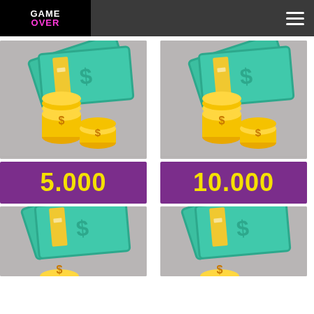GAME OVER
[Figure (illustration): Money illustration: green banknotes fanned out with gold coins, on gray background]
[Figure (illustration): 5.000 label on purple background]
[Figure (illustration): Money illustration: green banknotes fanned out with gold coins, on gray background]
[Figure (illustration): 10.000 label on purple background]
[Figure (illustration): Money illustration (partial): green banknotes fanned out with partial gold coin, on gray background]
[Figure (illustration): Money illustration (partial): green banknotes fanned out with partial gold coin, on gray background]